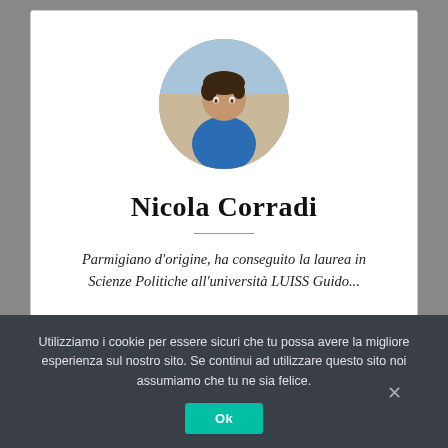[Figure (photo): Circular profile photo of a young man wearing a blue shirt, outdoors on a beach background]
Nicola Corradi
Parmigiano d'origine, ha conseguito la laurea in Scienze Politiche all'università LUISS Guido...
Utilizziamo i cookie per essere sicuri che tu possa avere la migliore esperienza sul nostro sito. Se continui ad utilizzare questo sito noi assumiamo che tu ne sia felice.
Ok